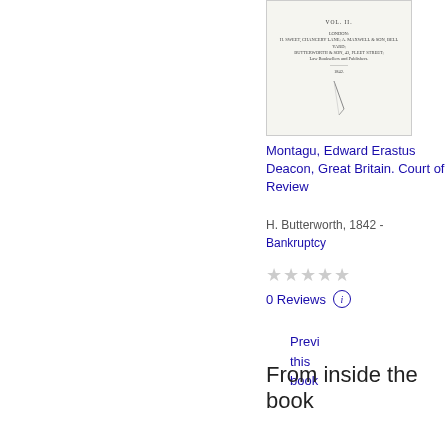[Figure (illustration): Book cover thumbnail showing title page of a legal volume, with text 'VOL. II', 'LONDON', publisher information, and a pen/quill illustration on the right side]
Montagu, Edward Erastus Deacon, Great Britain. Court of Review
H. Butterworth, 1842 - Bankruptcy
★★★★★
0 Reviews ⓘ
Preview this book
From inside the book